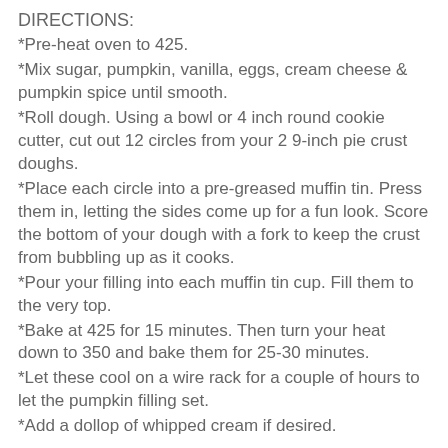DIRECTIONS:
*Pre-heat oven to 425.
*Mix sugar, pumpkin, vanilla, eggs, cream cheese & pumpkin spice until smooth.
*Roll dough. Using a bowl or 4 inch round cookie cutter, cut out 12 circles from your 2 9-inch pie crust doughs.
*Place each circle into a pre-greased muffin tin. Press them in, letting the sides come up for a fun look. Score the bottom of your dough with a fork to keep the crust from bubbling up as it cooks.
*Pour your filling into each muffin tin cup. Fill them to the very top.
*Bake at 425 for 15 minutes. Then turn your heat down to 350 and bake them for 25-30 minutes.
*Let these cool on a wire rack for a couple of hours to let the pumpkin filling set.
*Add a dollop of whipped cream if desired.
Source:  https://www.facebook.com/SouthernGalsTipsNTricks?fref=photo
Tweet
0 Comments